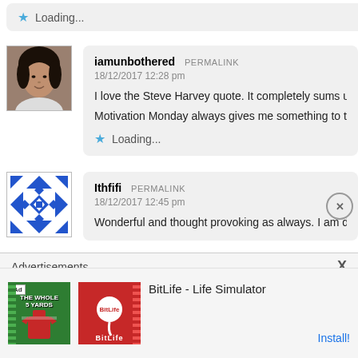Loading...
[Figure (photo): Profile photo of iamunbothered user]
iamunbothered PERMALINK
18/12/2017 12:28 pm
I love the Steve Harvey quote. It completely sums up my fe...
Motivation Monday always gives me something to think of...
Loading...
[Figure (illustration): Geometric pattern avatar for Ithfifi user]
Ithfifi PERMALINK
18/12/2017 12:45 pm
Wonderful and thought provoking as always. I am don...
Advertisements
[Figure (screenshot): Ad for BitLife - Life Simulator app showing green and red game imagery]
BitLife - Life Simulator
Install!